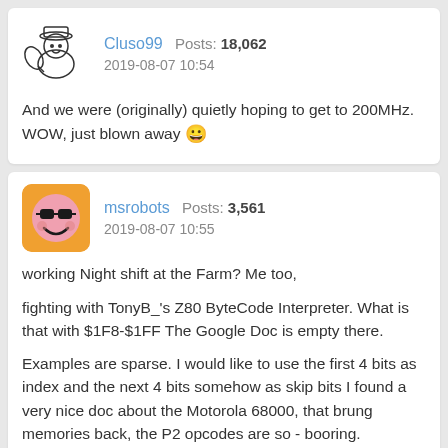[Figure (illustration): Avatar image for Cluso99 - cartoon character with hat]
Cluso99   Posts: 18,062
2019-08-07 10:54
And we were (originally) quietly hoping to get to 200MHz. WOW, just blown away 😀
[Figure (illustration): Avatar for msrobots - orange square with smiley face wearing sunglasses]
msrobots   Posts: 3,561
2019-08-07 10:55
working Night shift at the Farm? Me too,

fighting with TonyB_'s Z80 ByteCode Interpreter. What is that with $1F8-$1FF The Google Doc is empty there.

Examples are sparse. I would like to use the first 4 bits as index and the next 4 bits somehow as skip bits I found a very nice doc about the Motorola 68000, that brung memories back, the P2 opcodes are so - booring.